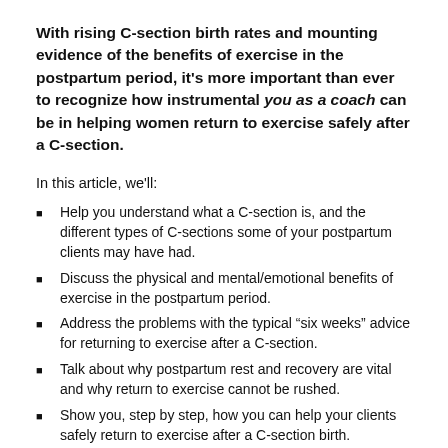With rising C-section birth rates and mounting evidence of the benefits of exercise in the postpartum period, it's more important than ever to recognize how instrumental you as a coach can be in helping women return to exercise safely after a C-section.
In this article, we'll:
Help you understand what a C-section is, and the different types of C-sections some of your postpartum clients may have had.
Discuss the physical and mental/emotional benefits of exercise in the postpartum period.
Address the problems with the typical “six weeks” advice for returning to exercise after a C-section.
Talk about why postpartum rest and recovery are vital and why return to exercise cannot be rushed.
Show you, step by step, how you can help your clients safely return to exercise after a C-section birth.